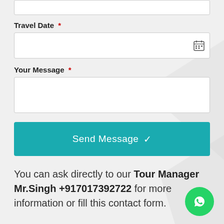[Figure (screenshot): Partial top input box (cut off at top of page)]
Travel Date *
[Figure (screenshot): Date input field with calendar icon]
Your Message *
[Figure (screenshot): Message text input field]
[Figure (screenshot): Send Message button with checkmark]
You can ask directly to our Tour Manager Mr.Singh +917017392722 for more information or fill this contact form.
[Figure (screenshot): WhatsApp icon button (green circle with phone icon)]